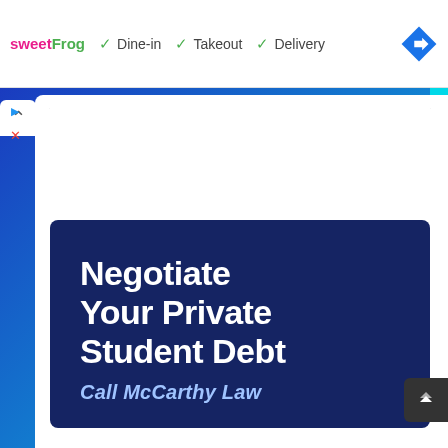[Figure (screenshot): Top ad bar with sweetFrog logo, dine-in/takeout/delivery checkmarks, and a blue navigation direction icon]
[Figure (screenshot): Mobile UI showing gradient blue-to-cyan background with white card overlay, a dark navy advertisement block reading 'Negotiate Your Private Student Debt - Call McCarthy Law', and a scroll-to-top button]